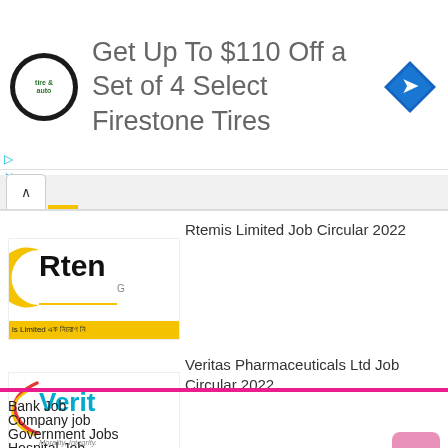[Figure (other): Advertisement banner: tire & auto logo circle, text 'Get Up To $110 Off a Set of 4 Select Firestone Tires', blue diamond arrow icon]
Rtemis Limited Job Circular 2022
[Figure (logo): Rtemis logo with yellow crescent, bold wordmark 'Rten', yellow underline, yellow banner with Bengali text]
Veritas Pharmaceuticals Ltd Job Circular 2022
[Figure (logo): Veritas Pharmaceuticals logo with swoosh icon, cyan wordmark 'Verit', tagline 'Morality, Integrity.', pink banner with Bengali text]
Bank Job
Company job
Government Jobs
Hospital Job
NGO Job